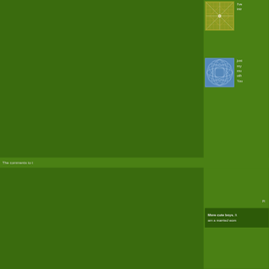[Figure (screenshot): Partial screenshot of a blog or website with green background sidebar. Shows two comment entries with avatar thumbnails and truncated text. First avatar is a gold geometric pattern image. Second avatar is a blue geometric/wireframe sphere image. Below is a 'The comments to t...' bar, a 'Pl...' label, and a dark green box with 'More cute boys. It... am a married wom...' comment text.]
I've... intr...
just... my... mu... oth... You...
The comments to t
Pl
More cute boys. It am a married wom...